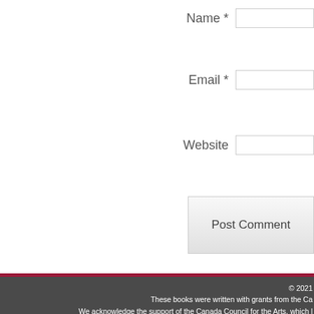Name *
Email *
Website
Post Comment
© 2021
These books were written with grants from the Ca
We acknowledge the support of the Canada Council for the Arts, which l
Nous remercions le Conse
L'an dernier, le Conseil a investi 154 millions de dollars pour me